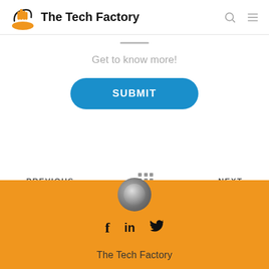[Figure (logo): The Tech Factory logo with an orange hand/finger icon and text 'The Tech Factory']
Get to know more!
SUBMIT
← PREVIOUS
NEXT →
[Figure (logo): The Tech Factory footer logo circle icon]
f  in  🐦
The Tech Factory